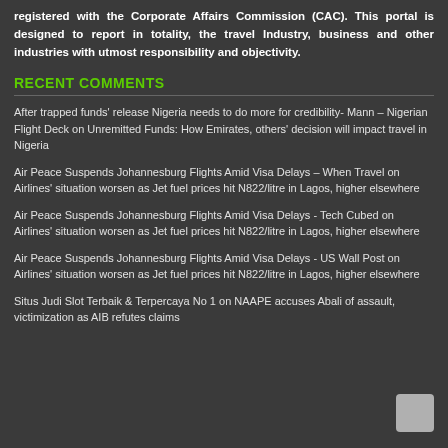registered with the Corporate Affairs Commission (CAC). This portal is designed to report in totality, the travel Industry, business and other industries with utmost responsibility and objectivity.
RECENT COMMENTS
After trapped funds' release Nigeria needs to do more for credibility- Mann – Nigerian Flight Deck on Unremitted Funds: How Emirates, others' decision will impact travel in Nigeria
Air Peace Suspends Johannesburg Flights Amid Visa Delays – When Travel on Airlines' situation worsen as Jet fuel prices hit N822/litre in Lagos, higher elsewhere
Air Peace Suspends Johannesburg Flights Amid Visa Delays - Tech Cubed on Airlines' situation worsen as Jet fuel prices hit N822/litre in Lagos, higher elsewhere
Air Peace Suspends Johannesburg Flights Amid Visa Delays - US Wall Post on Airlines' situation worsen as Jet fuel prices hit N822/litre in Lagos, higher elsewhere
Situs Judi Slot Terbaik & Terpercaya No 1 on NAAPE accuses Abali of assault, victimization as AIB refutes claims